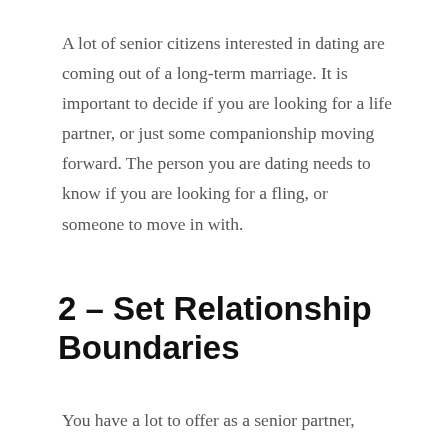A lot of senior citizens interested in dating are coming out of a long-term marriage. It is important to decide if you are looking for a life partner, or just some companionship moving forward. The person you are dating needs to know if you are looking for a fling, or someone to move in with.
2 – Set Relationship Boundaries
You have a lot to offer as a senior partner, and if they don't want that, you need to...